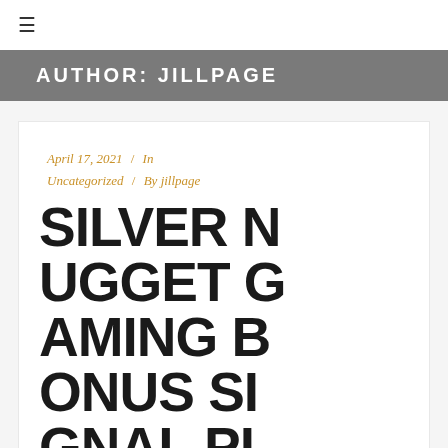☰
AUTHOR: JILLPAGE
April 17, 2021 / In Uncategorized / By jillpage
[Figure (illustration): Large bold uppercase text reading SILVER NUGGET GAMING BONUS SIGNAL PLAYBONU displayed in a compressed word-wrap format filling the card area]